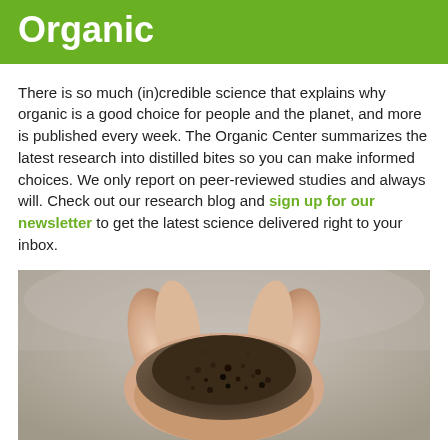Organic
There is so much (in)credible science that explains why organic is a good choice for people and the planet, and more is published every week. The Organic Center summarizes the latest research into distilled bites so you can make informed choices. We only report on peer-reviewed studies and always will. Check out our research blog and sign up for our newsletter to get the latest science delivered right to your inbox.
[Figure (photo): A pair of open hands holding dark organic soil/compost against a blurred light background]